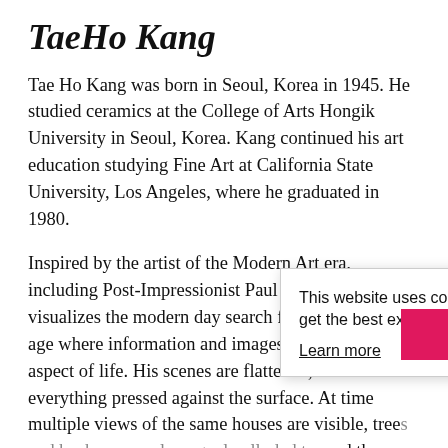TaeHo Kang
Tae Ho Kang was born in Seoul, Korea in 1945. He studied ceramics at the College of Arts Hongik University in Seoul, Korea. Kang continued his art education studying Fine Art at California State University, Los Angeles, where he graduated in 1980.
Inspired by the artist of the Modern Art era, including Post-Impressionist Paul Cezanne, Kang visualizes the modern day search for identity in an age where information and images permeate every aspect of life. His scenes are flattened, with everything pressed against the surface. At time multiple views of the same houses are visible, trees and bushes are only vaguely alluded to, and the color p…
“The beauty of… impression and… work. I wanted to be a molecule in this huge space. I have
This website uses cookies to ensure you get the best experience
Learn more
Accept